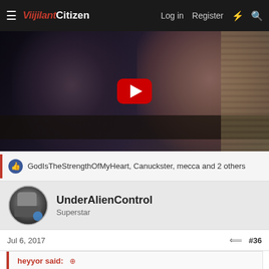≡ Vigilant Citizen  Log in  Register  ⚡  🔍
[Figure (screenshot): YouTube video thumbnail showing two women sitting at a desk in what appears to be a classroom or office, with a large red YouTube play button overlaid in the center.]
GodIsTheStrengthOfMyHeart, Canuckster, mecca and 2 others
UnderAlienControl
Superstar
Jul 6, 2017
#36
heyyor said: ⊕